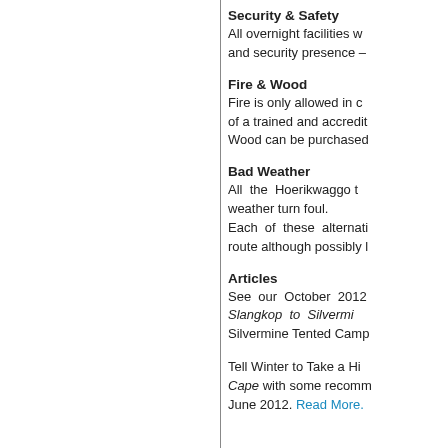Security & Safety
All overnight facilities w and security presence –
Fire & Wood
Fire is only allowed in c of a trained and accredit Wood can be purchased
Bad Weather
All the Hoerikwaggo t weather turn foul. Each of these alternati route although possibly l
Articles
See our October 2012 Slangkop to Silvermi Silvermine Tented Camp
Tell Winter to Take a Hi Cape with some recomm June 2012. Read More.